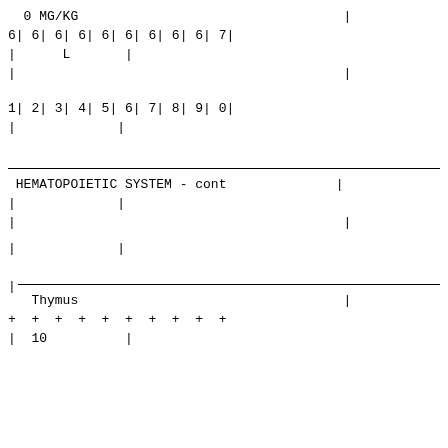0 MG/KG                                    |
6| 6| 6| 6| 6| 6| 6| 6| 6| 7|
|      L       |
|                                              |
1| 2| 3| 4| 5| 6| 7| 8| 9| 0|
|             |
HEMATOPOIETIC SYSTEM - cont              |
|             |
|                                              |
|             |
Thymus                                     |
+  +  +  +  +  +  +  +  +  +
|  10          |